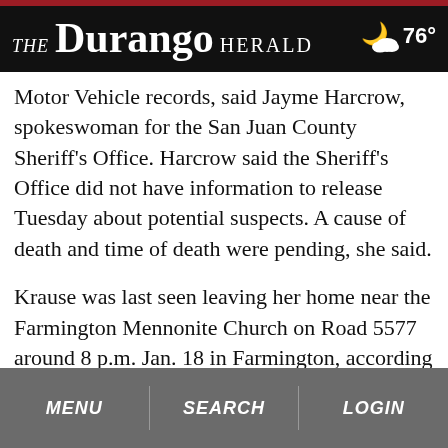THE Durango HERALD  76°
Motor Vehicle records, said Jayme Harcrow, spokeswoman for the San Juan County Sheriff's Office. Harcrow said the Sheriff's Office did not have information to release Tuesday about potential suspects. A cause of death and time of death were pending, she said.
Krause was last seen leaving her home near the Farmington Mennonite Church on Road 5577 around 8 p.m. Jan. 18 in Farmington, according to the initial news release from the San Juan County Sheriff's Office. Deputies were dispatched at 3 a.m. Jan. 19 to Krause's place of work, Lamp & Light Publishers on Road 5577
MENU  SEARCH  LOGIN